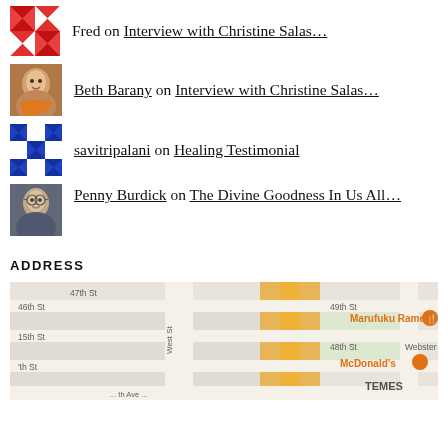Fred on Interview with Christine Salas…
Beth Barany on Interview with Christine Salas…
savitripalani on Healing Testimonial
Penny Burdick on The Divine Goodness In Us All…
ADDRESS
[Figure (map): Street map showing area around 46th St, 47th St, 48th St, 49th St, West St, Webster St, featuring markers for Marufuku Ramen and McDonald's, with TEMES label visible]